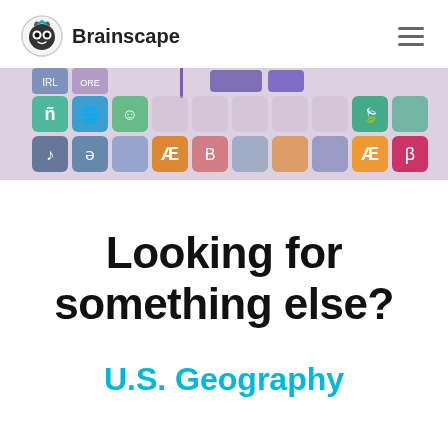Brainscape
[Figure (screenshot): A colorful grid of app/keyboard icons with letters and symbols including ñ, Æ, ə, β, musical notes, and various language characters on colored tiles (green, teal, orange, purple). A purple vertical divider line is visible near the top center.]
Looking for something else?
U.S. Geography